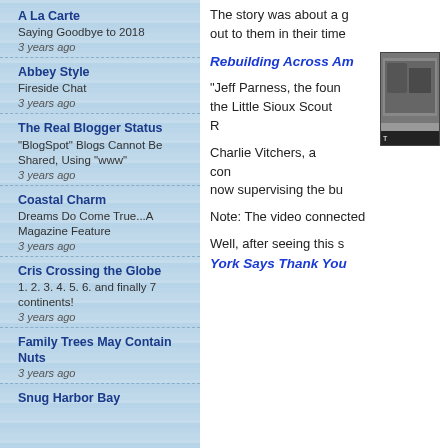A La Carte
Saying Goodbye to 2018
3 years ago
Abbey Style
Fireside Chat
3 years ago
The Real Blogger Status
"BlogSpot" Blogs Cannot Be Shared, Using "www"
3 years ago
Coastal Charm
Dreams Do Come True...A Magazine Feature
3 years ago
Cris Crossing the Globe
1. 2. 3. 4. 5. 6. and finally 7 continents!
3 years ago
Family Trees May Contain Nuts
3 years ago
Snug Harbor Bay
The story was about a group reaching out to them in their time...
[Figure (photo): Black and white photograph, partially visible on right edge]
Rebuilding Across Am...
"Jeff Parness, the found... the Little Sioux Scout R...
Charlie Vitchers, a cons... now supervising the bu...
Note: The video connected...
Well, after seeing this s...
York Says Thank You...